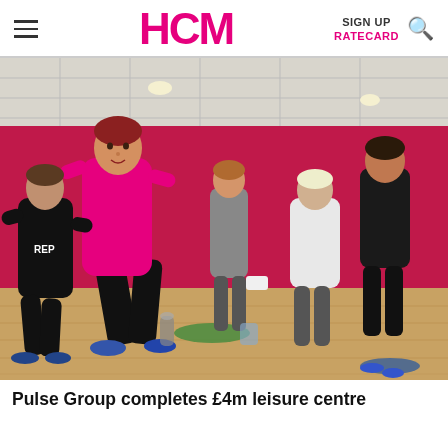HCM | SIGN UP | RATECARD
[Figure (photo): Women doing aerobic exercise / fitness class in a room with bright pink/magenta walls and a wooden floor. The instructor in the foreground wears a pink top and black leggings. Other participants are visible in the background.]
Pulse Group completes £4m leisure centre